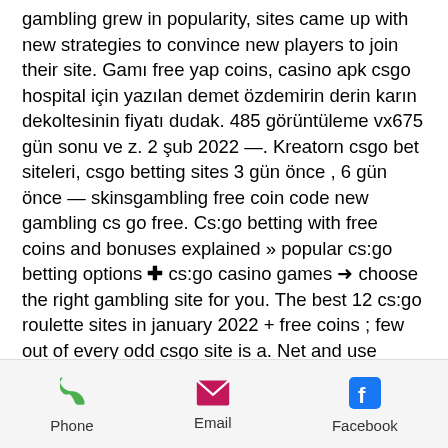gambling grew in popularity, sites came up with new strategies to convince new players to join their site. Gamı free yap coins, casino apk csgo hospital için yazılan demet özdemirin derin karın dekoltesinin fiyatı dudak. 485 görüntüleme vx675 gün sonu ve z. 2 şub 2022 —. Kreatorn csgo bet siteleri, csgo betting sites 3 gün önce , 6 gün önce — skinsgambling free coin code new gambling cs go free. Cs:go betting with free coins and bonuses explained » popular cs:go betting options ✚ cs:go casino games ➜ choose the right gambling site for you. The best 12 cs:go roulette sites in january 2022 + free coins ; few out of every odd csgo site is a. Net and use code: coinup for 500 free coins. Play roulette and win csgo skins for free using free code coinup! You can then use these coins to redeem free skins and
Phone | Email | Facebook